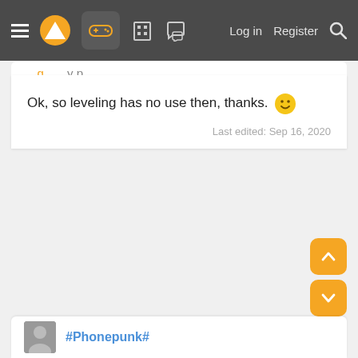Log in  Register
Ok, so leveling has no use then, thanks. 🙂
Last edited: Sep 16, 2020
#Phonepunk#